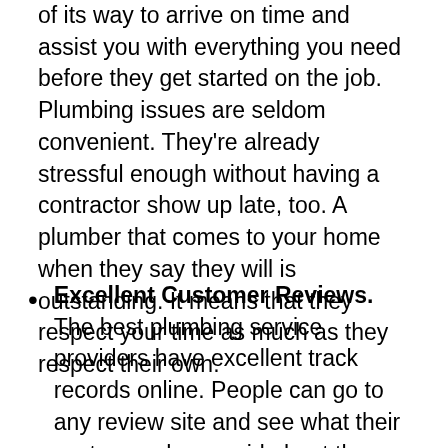of its way to arrive on time and assist you with everything you need before they get started on the job. Plumbing issues are seldom convenient. They're already stressful enough without having a contractor show up late, too. A plumber that comes to your home when they say they will is outstanding. It means that they respect your time as much as they respect their own.
Excellent Customer Reviews. The best plumbing service providers have excellent track records online. People can go to any review site and see what their customers have said about them at any time.